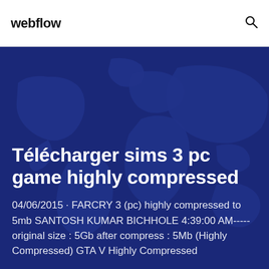webflow
Télécharger sims 3 pc game highly compressed
04/06/2015 · FARCRY 3 (pc) highly compressed to 5mb SANTOSH KUMAR BICHHOLE 4:39:00 AM-----original size : 5Gb after compress : 5Mb (Highly Compressed) GTA V Highly Compressed